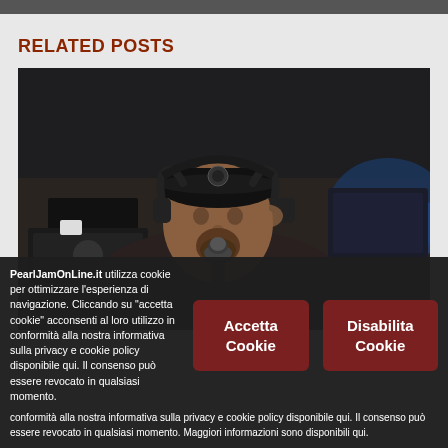RELATED POSTS
[Figure (photo): A man wearing a black cap with a microphone logo and headphones, speaking into a microphone in a studio setting with equipment and blue lighting in the background.]
PearlJamOnLine.it utilizza cookie per ottimizzare l'esperienza di navigazione. Cliccando su "accetta cookie" acconsenti al loro utilizzo in conformità alla nostra informativa sulla privacy e cookie policy disponibile qui. Il consenso può essere revocato in qualsiasi momento. Maggiori informazioni sono disponibili qui.
Accetta Cookie
Disabilita Cookie